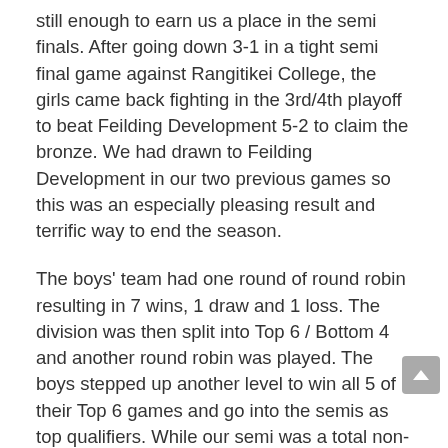still enough to earn us a place in the semi finals. After going down 3-1 in a tight semi final game against Rangitikei College, the girls came back fighting in the 3rd/4th playoff to beat Feilding Development 5-2 to claim the bronze. We had drawn to Feilding Development in our two previous games so this was an especially pleasing result and terrific way to end the season.
The boys' team had one round of round robin resulting in 7 wins, 1 draw and 1 loss. The division was then split into Top 6 / Bottom 4 and another round robin was played. The boys stepped up another level to win all 5 of their Top 6 games and go into the semis as top qualifiers. While our semi was a total non-event (we wasted them), the final was set to be a real showdown of the two best teams in the division. St Peter's had beaten us 4-1 in the first round robin, and we had beaten them 3-1 in the Top 6 round robin.